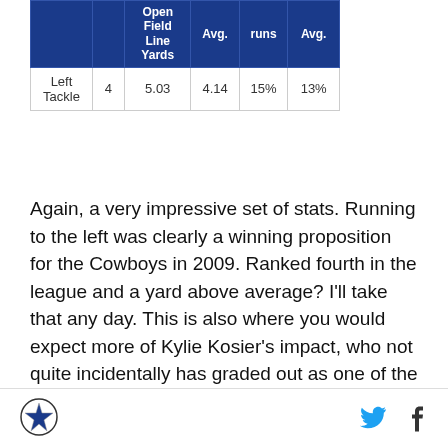|  |  | Open Field Line Yards | Avg. | runs | Avg. |
| --- | --- | --- | --- | --- | --- |
| Left Tackle | 4 | 5.03 | 4.14 | 15% | 13% |
Again, a very impressive set of stats. Running to the left was clearly a winning proposition for the Cowboys in 2009. Ranked fourth in the league and a yard above average? I'll take that any day. This is also where you would expect more of Kylie Kosier's impact, who not quite incidentally has graded out as one of the Cowboys' best lineman for the last few years.
[Figure (other): Advertisement box with 'AD' label]
Dallas Cowboys star logo | Twitter icon | Facebook icon